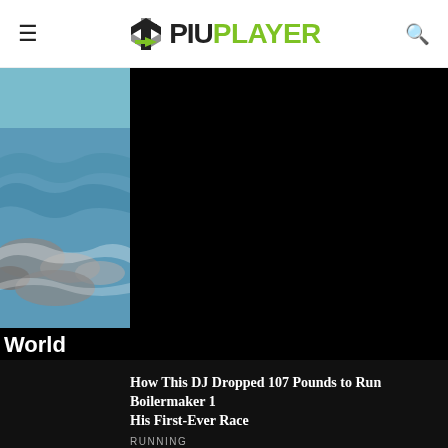PIU PLAYER
[Figure (photo): Partial photo of ocean water with rocky shore, blue tones, partially visible on the left side]
[Figure (photo): Large black panel area (video/image content not loaded or blacked out)]
World
How This DJ Dropped 107 Pounds to Run Boilermaker 15K as His First-Ever Race
RUNNING